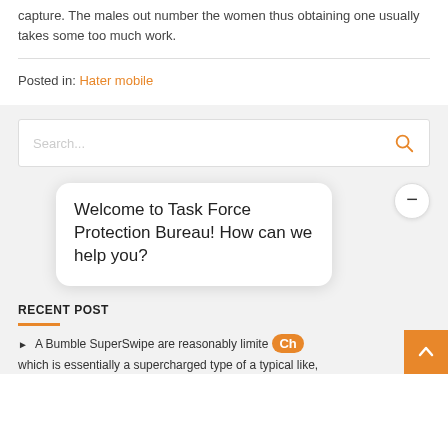capture. The males out number the women thus obtaining one usually takes some too much work.
Posted in: Hater mobile
[Figure (screenshot): Search box with placeholder text 'Search...' and orange search icon]
[Figure (screenshot): Chat popup bubble saying 'Welcome to Task Force Protection Bureau! How can we help you?' with minimize button]
RECENT POSTS
A Bumble SuperSwipe are reasonably limited which is essentially a supercharged type of a typical like,